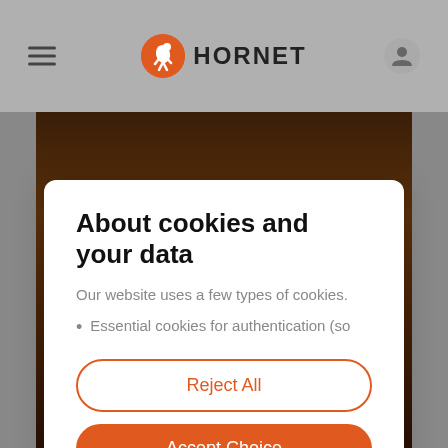HORNET
[Figure (screenshot): Cookie consent modal dialog on Hornet website showing background photo of a person with jewelry]
About cookies and your data
Our website uses a few types of cookies.
Essential cookies for authentication (so
Reject All
Accept Choice